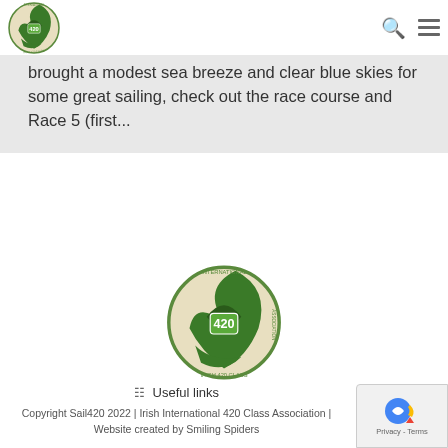[Figure (logo): Irish International 420 Class Association circular logo in green and cream colors, top-left header]
brought a modest sea breeze and clear blue skies for some great sailing, check out the race course and Race 5 (first...
[Figure (logo): Irish International 420 Class Association circular logo centered in lower portion of page]
Useful links
Copyright Sail420 2022 | Irish International 420 Class Association | Website created by Smiling Spiders